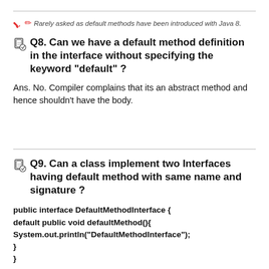✏ Rarely asked as default methods have been introduced with Java 8.
Q8. Can we have a default method definition in the interface without specifying the keyword "default" ?
Ans. No. Compiler complains that its an abstract method and hence shouldn't have the body.
Q9. Can a class implement two Interfaces having default method with same name and signature ?
public interface DefaultMethodInterface {
default public void defaultMethod(){
System.out.println("DefaultMethodInterface");
}
}